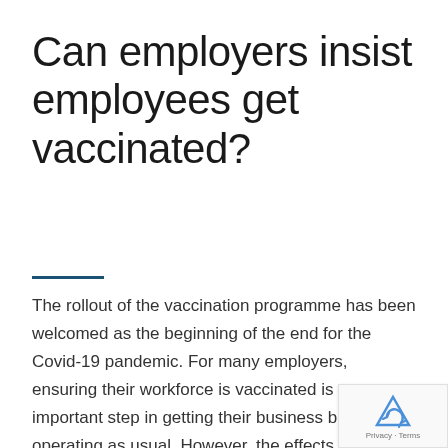Can employers insist employees get vaccinated?
The rollout of the vaccination programme has been welcomed as the beginning of the end for the Covid-19 pandemic. For many employers, ensuring their workforce is vaccinated is an important step in getting their business back to operating as usual. However, the effects of ‘vaccine hesitancy’ and the anti-vaccine movement may mean that some employees refuse vaccinated.